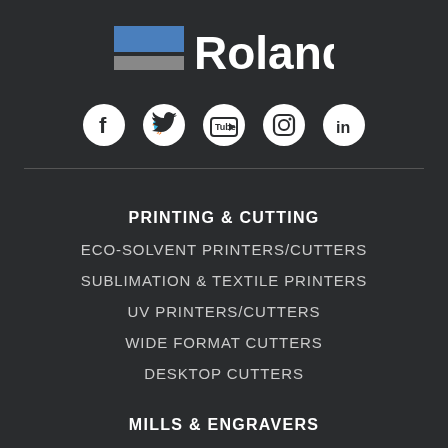[Figure (logo): Roland logo with blue and grey horizontal bars followed by the word Roland in white text on dark background]
[Figure (infographic): Five social media icons in white circles: Facebook, Twitter, YouTube, Instagram, LinkedIn]
PRINTING & CUTTING
ECO-SOLVENT PRINTERS/CUTTERS
SUBLIMATION & TEXTILE PRINTERS
UV PRINTERS/CUTTERS
WIDE FORMAT CUTTERS
DESKTOP CUTTERS
MILLS & ENGRAVERS